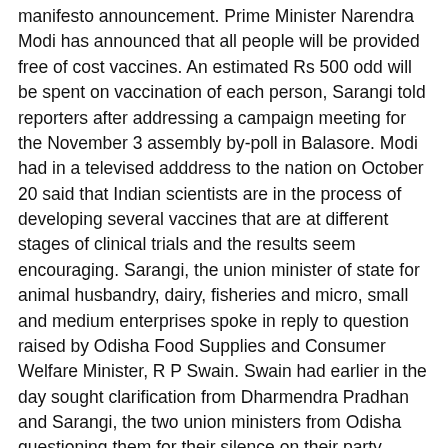manifesto announcement. Prime Minister Narendra Modi has announced that all people will be provided free of cost vaccines. An estimated Rs 500 odd will be spent on vaccination of each person, Sarangi told reporters after addressing a campaign meeting for the November 3 assembly by-poll in Balasore. Modi had in a televised adddress to the nation on October 20 said that Indian scientists are in the process of developing several vaccines that are at different stages of clinical trials and the results seem encouraging. Sarangi, the union minister of state for animal husbandry, dairy, fisheries and micro, small and medium enterprises spoke in reply to question raised by Odisha Food Supplies and Consumer Welfare Minister, R P Swain. Swain had earlier in the day sought clarification from Dharmendra Pradhan and Sarangi, the two union ministers from Odisha questioning them for their silence on their party BJP"s stand on free COVID-19 vaccination for the people of the state along the lines of the one being promised in Bihar. The governments of Tamil Nadu, Madhya Pradesh, Assam and Puduchchery have already announced free of cost COVID vaccines for the people of their states, while Delhi Chief Minister Arvind Keiriwal has demanded free vaccine for all citizens across